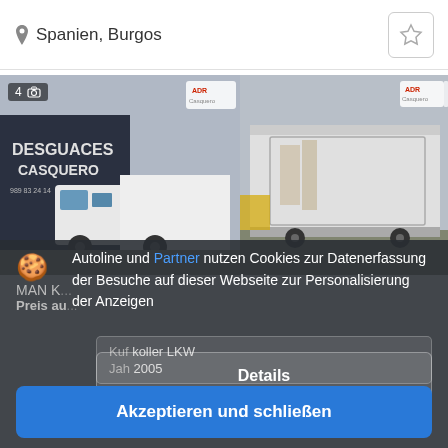Spanien, Burgos
[Figure (photo): Two photos of a white box truck (Koffer LKW) at a junkyard (Desguaces Casquero). Left photo shows front/side view with number 4 badge. Right photo shows rear/side view of the white box body.]
Autoline und Partner nutzen Cookies zur Datenerfassung der Besuche auf dieser Webseite zur Personalisierung der Anzeigen
Details
MAN K...
Preis au...
Kuf Koffer LKW
Jah 2005
Akzeptieren und schließen